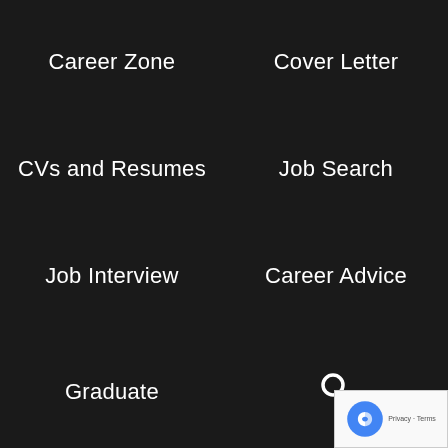Career Zone | Cover Letter | CVs and Resumes | Job Search | Job Interview | Career Advice | Graduate | Search
Job Should I Do? It Depends on Whether You're trovert Or An Extrovert
Ways to Unplug and Recharge During The Holiday on
Jobs for Teenagers to Earn Extra Money
Off During Covid-19? Here's How to Explain a d Gap on your CV
Job Search Strategy: The Ultimate Guide to Jo...